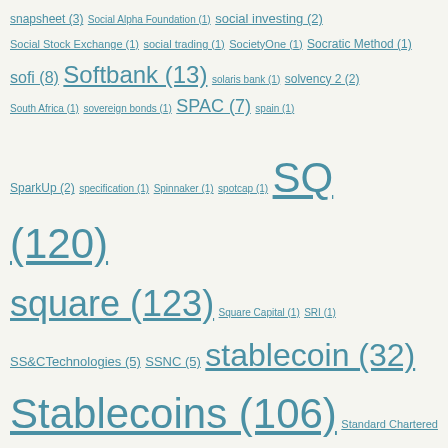Tag cloud list including: snapsheet (3), Social Alpha Foundation (1), social investing (2), Social Stock Exchange (1), social trading (1), SocietyOne (1), Socratic Method (1), sofi (8), Softbank (13), solaris bank (1), solvency 2 (2), South Africa (1), sovereign bonds (1), SPAC (7), spain (1), SparkUp (2), specification (1), Spinnaker (1), spotcap (1), SQ (120), square (123), Square Capital (1), SRI (1), SS&CTechnologies (5), SSNC (5), stablecoin (32), Stablecoins (106), Standard Chartered (1), Starling (6), startup (5), startupbootcamp (5), startups (5), startup strategy (7), state farm (2), statutory (1), steemit (3), stellar (4), STO (3), stock exchanges (2), stockmarket (3), Stokfella (1), storage (1), store of wealth (1), straight through processing (2), strategy (2), Stress Testing (1), strike (2), stripe (7), superannuation (1), supermoney (1), supply chain (2), supply chain finance (14), suptech (1), sustainability (33), sustainable banking (4), sustainable finance (1), sustainablility (3), Swanest (1), swan song (1), swaps (1), sweden (1)